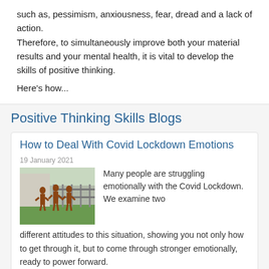such as, pessimism, anxiousness, fear, dread and a lack of action. Therefore, to simultaneously improve both your material results and your mental health, it is vital to develop the skills of positive thinking.
Here's how...
Positive Thinking Skills Blogs
How to Deal With Covid Lockdown Emotions
19 January 2021
[Figure (photo): Three human statues or sculptures standing on grass in front of a fence, appearing to be made of metal with a brownish color]
Many people are struggling emotionally with the Covid Lockdown. We examine two different attitudes to this situation, showing you not only how to get through it, but to come through stronger emotionally, ready to power forward.